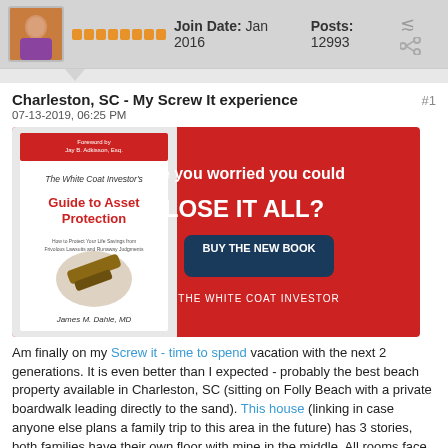Join Date: Jan 2016  Posts: 12993
Charleston, SC - My Screw It experience  #1
07-13-2019, 06:25 PM
[Figure (illustration): Advertisement banner for 'The White Coat Investor's Guide to Asset Protection' book by James M. Dahle, MD. Red background with text 'Are you worried you could LOSE IT ALL?' and a dark blue button 'BUY THE NEW BOOK'. Shows book cover with gavel image on left side.]
Am finally on my Screw it - time to spend vacation with the next 2 generations. It is even better than I expected - probably the best beach property available in Charleston, SC (sitting on Folly Beach with a private boardwalk leading directly to the sand). This house (linking in case anyone else plans a family trip to this area in the future) has 3 stories, both families have their own floor with mine in the middle. All rooms face the ocean. Kids are ecstatic. I am sitting here